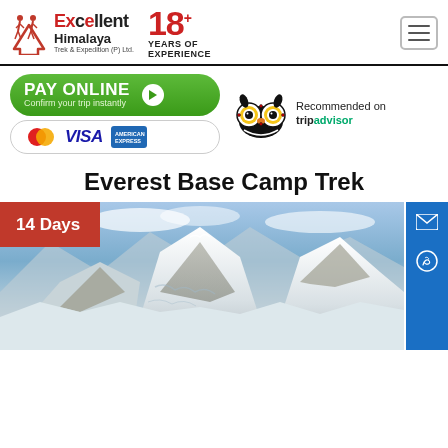[Figure (logo): Excellent Himalaya Trek & Expedition (P) Ltd. logo with arrow icon and '18+ YEARS OF EXPERIENCE' text]
[Figure (infographic): PAY ONLINE button (green pill shape) with 'Confirm your trip instantly' text and cursor icon, plus MasterCard, VISA, American Express card logos below]
[Figure (logo): TripAdvisor owl logo with 'Recommended on tripadvisor' text]
Everest Base Camp Trek
[Figure (photo): Mountain landscape photo showing Everest Base Camp area with snow-covered peaks and blue sky. Red badge overlay reads '14 Days']